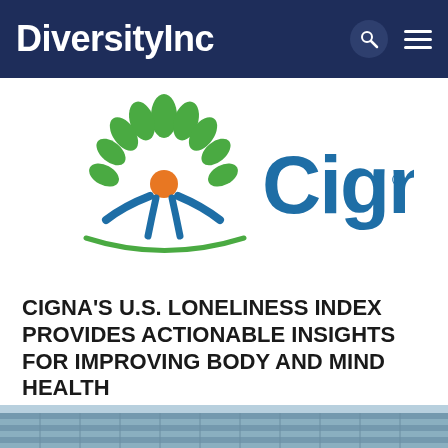DiversityInc
[Figure (logo): Cigna logo with green tree and orange circle person icon, blue 'Cigna' wordmark with registered trademark symbol]
CIGNA'S U.S. LONELINESS INDEX PROVIDES ACTIONABLE INSIGHTS FOR IMPROVING BODY AND MIND HEALTH
[Figure (photo): Partial view of a modern office building exterior with glass windows and blue sky]